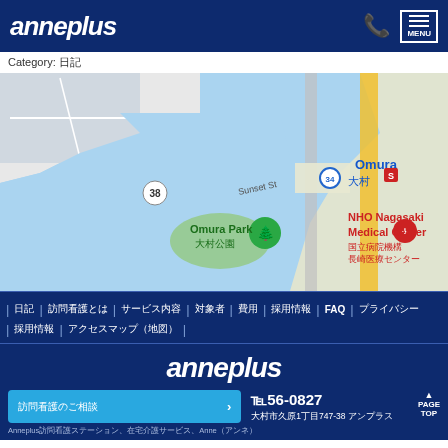anneplus MENU
Category: 日記
[Figure (map): Google Maps showing Omura area in Nagasaki, Japan. Shows Omura station, Omura Park (大村公園), NHO Nagasaki Medical Center (国立病院機構 長崎医療センター), Sunset St, route 38, and mura Line.]
日記 | 訪問看護とは | サービス内容 | 対象者 | 費用 | 採用情報 | FAQ | プライバシー | 採用情報 | アクセスマップ（地図）
anneplus ℡856-0827 大村市久原1丁目747-38 アンプラス Anneplus訪問看護ステーション、在宅介護サービス、Anne（アンネ）
PAGE TOP